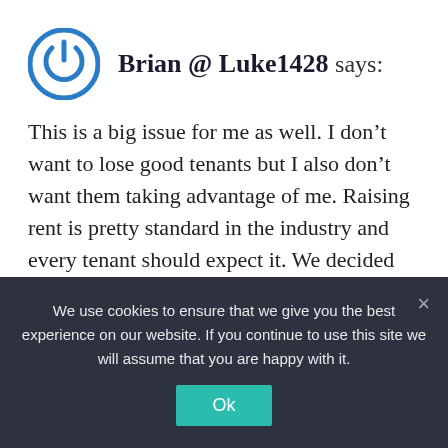Brian @ Luke1428 says:
This is a big issue for me as well. I don't want to lose good tenants but I also don't want them taking advantage of me. Raising rent is pretty standard in the industry and every tenant should expect it. We decided that we would always raise rents, even if it's just a little to set that expectation in the tenants mind. I've raised rents as little as $5 a month. I'd rather
We use cookies to ensure that we give you the best experience on our website. If you continue to use this site we will assume that you are happy with it.
Ok